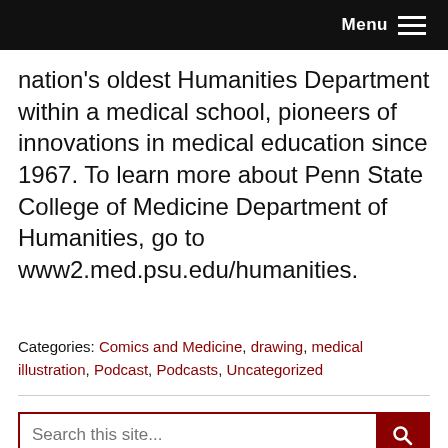Menu
nation's oldest Humanities Department within a medical school, pioneers of innovations in medical education since 1967. To learn more about Penn State College of Medicine Department of Humanities, go to www2.med.psu.edu/humanities.
Categories: Comics and Medicine, drawing, medical illustration, Podcast, Podcasts, Uncategorized